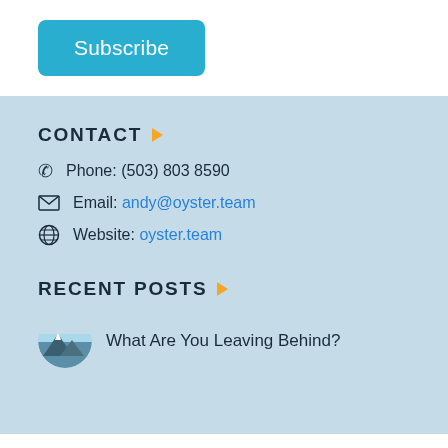Subscribe
CONTACT
Phone: (503) 803 8590
Email: andy@oyster.team
Website: oyster.team
RECENT POSTS
What Are You Leaving Behind?